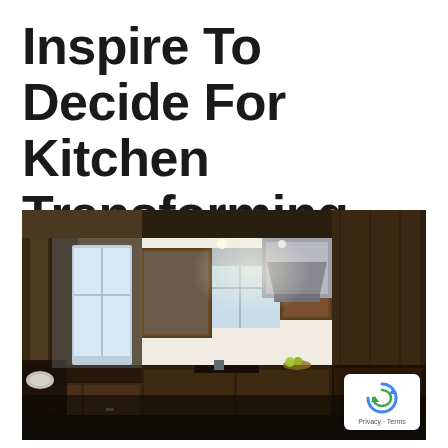Inspire To Decide For Kitchen Transforming
[Figure (photo): Interior photo of a modern kitchen with dark wood cabinets, dark granite countertops, stainless steel range hood, recessed lighting, and a window above the sink. The kitchen features an L-shaped or U-shaped layout. A reCAPTCHA badge is overlaid in the bottom-right corner.]